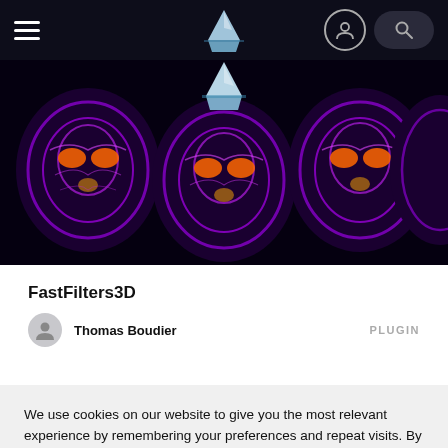[Figure (screenshot): Navigation bar with hamburger menu on left, iceberg logo in center, user profile icon and search button on right, dark background]
[Figure (photo): Banner image showing multiple colorized brain MRI scans (purple/orange/red false color) arranged in a row on black background, with iceberg logo overlaid in center]
FastFilters3D
Thomas Boudier
PLUGIN
We use cookies on our website to give you the most relevant experience by remembering your preferences and repeat visits. By clicking "Accept All", you consent to the use of ALL the cookies. However, you may visit "Cookie Settings" to provide a controlled consent.
Cookie Settings
Accept All